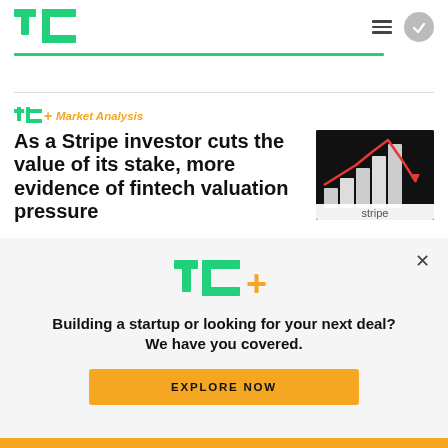TechCrunch
TC+ Market Analysis
As a Stripe investor cuts the value of its stake, more evidence of fintech valuation pressure
[Figure (photo): Bar chart with red downward arrow line on a phone screen showing Stripe logo, dark background]
[Figure (logo): TC+ logo in green with yellow plus sign]
Building a startup or looking for your next deal? We have you covered.
EXPLORE NOW